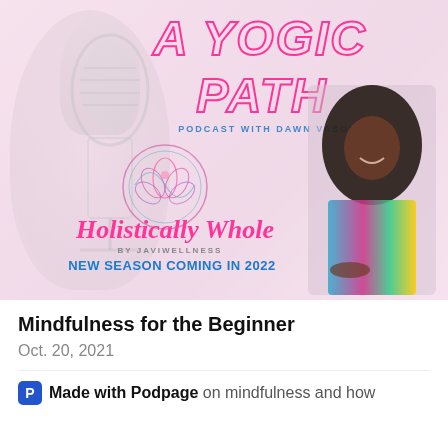[Figure (illustration): Podcast artwork for 'A Yogic Path' podcast with Dawn Vason. Features pink outlined block text 'A YOGIC PATH' at top, subtitle 'PODCAST WITH DAWN VASON' in blue, a circular lotus flower logo, pink cursive text 'Holistically Whole', text 'BY JAVIWELLNESS' and 'NEW SEASON COMING IN 2022' in blue. Background shows a microphone. A smiling woman in colorful clothing is on the right side.]
Mindfulness for the Beginner
Oct. 20, 2021
Made with Podpage on mindfulness and how